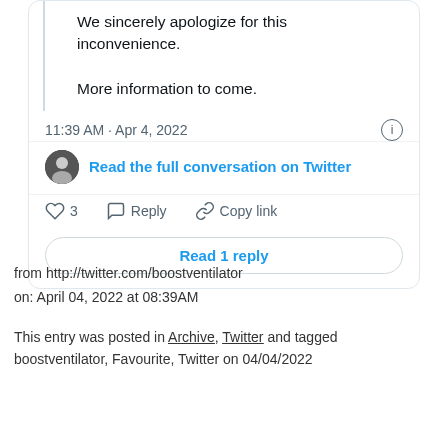We sincerely apologize for this inconvenience.

More information to come.
11:39 AM · Apr 4, 2022
Read the full conversation on Twitter
3  Reply  Copy link
Read 1 reply
from http://twitter.com/boostventilator
on: April 04, 2022 at 08:39AM
This entry was posted in Archive, Twitter and tagged boostventilator, Favourite, Twitter on 04/04/2022